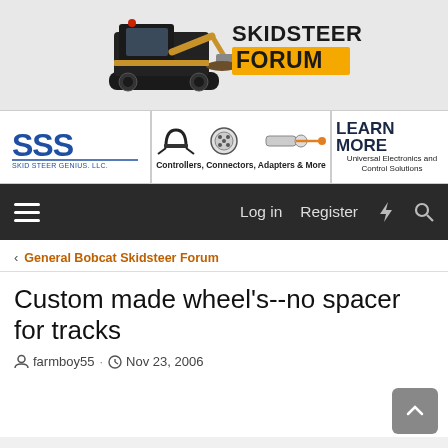[Figure (logo): SkidSteer Forum logo with yellow and black skid steer machine and bold text 'SKIDSTEER FORUM']
[Figure (photo): Advertisement banner for Skid Steer Genius LLC showing SSS logo, connectors/adapters photos, and 'LEARN MORE - Controllers, Connectors, Adapters & More - Universal Electronics and Control Solutions']
Log in   Register
< General Bobcat Skidsteer Forum
Custom made wheel's--no spacer for tracks
farmboy55 · Nov 23, 2006